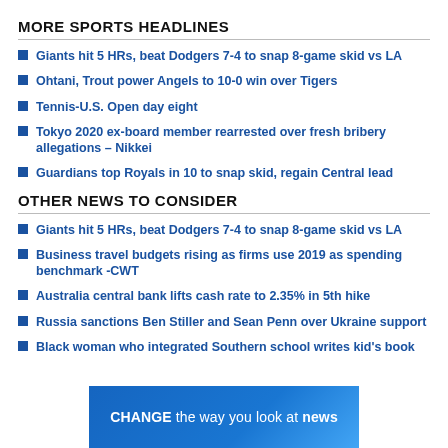MORE SPORTS HEADLINES
Giants hit 5 HRs, beat Dodgers 7-4 to snap 8-game skid vs LA
Ohtani, Trout power Angels to 10-0 win over Tigers
Tennis-U.S. Open day eight
Tokyo 2020 ex-board member rearrested over fresh bribery allegations – Nikkei
Guardians top Royals in 10 to snap skid, regain Central lead
OTHER NEWS TO CONSIDER
Giants hit 5 HRs, beat Dodgers 7-4 to snap 8-game skid vs LA
Business travel budgets rising as firms use 2019 as spending benchmark -CWT
Australia central bank lifts cash rate to 2.35% in 5th hike
Russia sanctions Ben Stiller and Sean Penn over Ukraine support
Black woman who integrated Southern school writes kid's book
[Figure (infographic): Advertisement banner reading CHANGE the way you look at news on a blue gradient background]